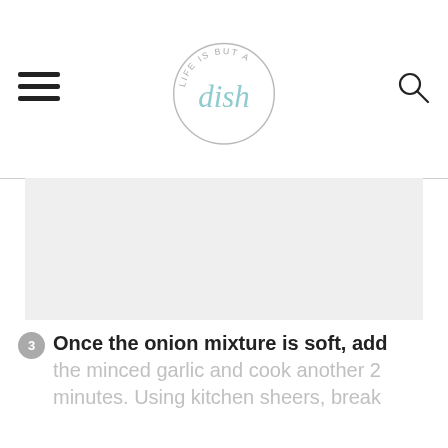Life is But a Dish
[Figure (photo): Large food photo area, light gray placeholder]
3 Once the onion mixture is soft, add the minced garlic and cook another 2 minutes. Using kitchen sheers, break